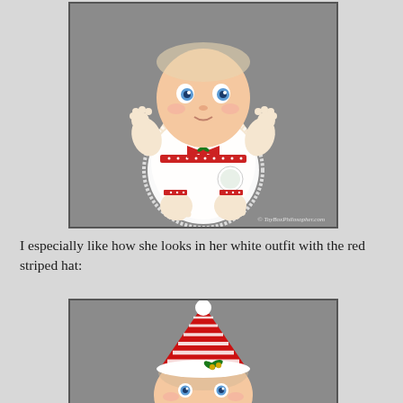[Figure (photo): A baby doll wearing a white outfit with red polka-dot ribbon bows and a red bow at the chest with a green accent. The doll has blue eyes, chubby limbs, and bare feet. Gray background. Watermark reads '© ToyBoxPhilosopher.com'.]
I especially like how she looks in her white outfit with the red striped hat:
[Figure (photo): Close-up of a baby doll wearing a red and white striped Christmas/Santa hat with a white pom-pom, green holly accent, and bells. The hat is the main focus. Gray background.]